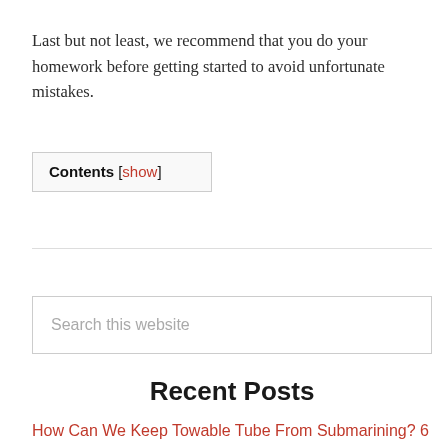Last but not least, we recommend that you do your homework before getting started to avoid unfortunate mistakes.
Contents [show]
Search this website
Recent Posts
How Can We Keep Towable Tube From Submarining? 6